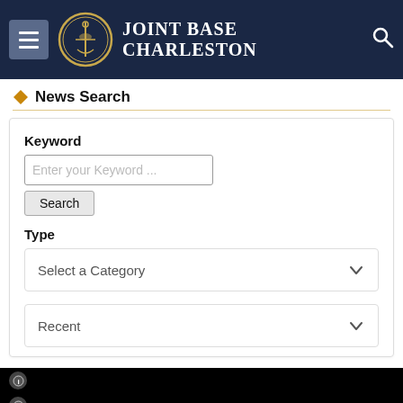Joint Base Charleston
News Search
Keyword
Enter your Keyword ...
Search
Type
Select a Category
Recent
[Figure (screenshot): Black image area at the bottom of the page with info icons on the left side and gold diamond decorations at the bottom corners]